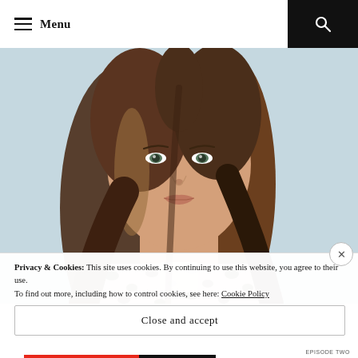Menu
[Figure (photo): Close-up portrait of a young woman with long brown hair, wearing a leopard-print top, against a light blue background, looking directly at the camera with a neutral expression.]
Privacy & Cookies: This site uses cookies. By continuing to use this website, you agree to their use.
To find out more, including how to control cookies, see here: Cookie Policy
Close and accept